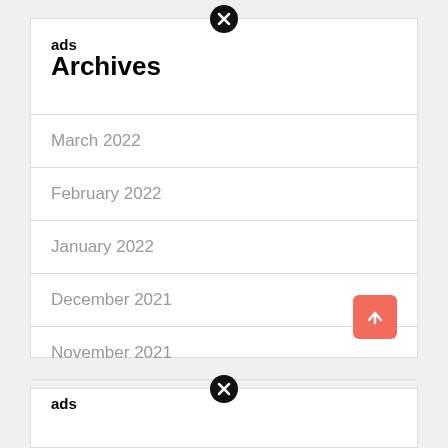ads
Archives
March 2022
February 2022
January 2022
December 2021
November 2021
October 2021
September 2021